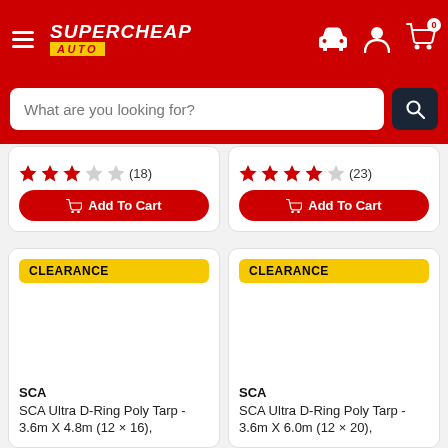[Figure (screenshot): Supercheap Auto website header with red background, hamburger menu, logo, car icon, user icon, and cart icon with 0 badge]
What are you looking for?
★★★☆☆ (18)
Add To Cart
★★★★☆ (23)
Add To Cart
CLEARANCE
SCA
SCA Ultra D-Ring Poly Tarp - 3.6m X 4.8m (12 × 16),
CLEARANCE
SCA
SCA Ultra D-Ring Poly Tarp - 3.6m X 6.0m (12 × 20),